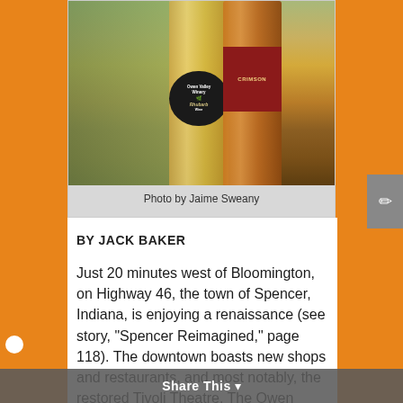[Figure (photo): Two wine bottles on a wooden surface with blurred green background. Left bottle has a round black label reading 'Owen Valley Winery Rhubarb Wine'. Right bottle has a dark red label reading 'Crimson'.]
Photo by Jaime Sweany
BY JACK BAKER
Just 20 minutes west of Bloomington, on Highway 46, the town of Spencer, Indiana, is enjoying a renaissance (see story, “Spencer Reimagined,” page 118). The downtown boasts new shops and restaurants, and most notably, the restored Tivoli Theatre. The Owen Valley Winery has established a